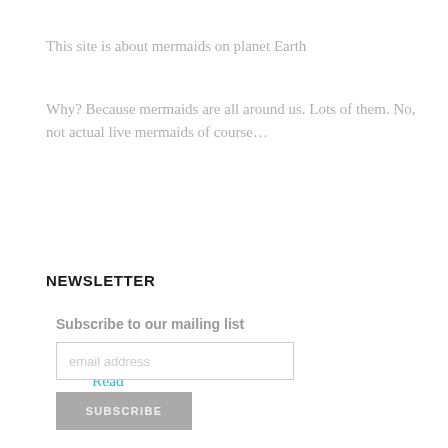This site is about mermaids on planet Earth
Why? Because mermaids are all around us. Lots of them. No, not actual live mermaids of course…
Read More
NEWSLETTER
Subscribe to our mailing list
email address
SUBSCRIBE